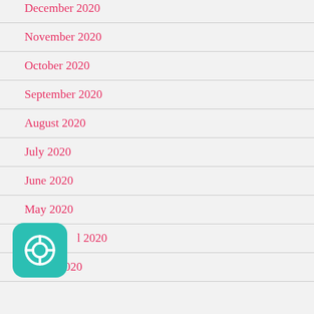December 2020
November 2020
October 2020
September 2020
August 2020
July 2020
June 2020
May 2020
April 2020
March 2020
[Figure (logo): Teal rounded square icon with a lifebuoy/help ring symbol in white]